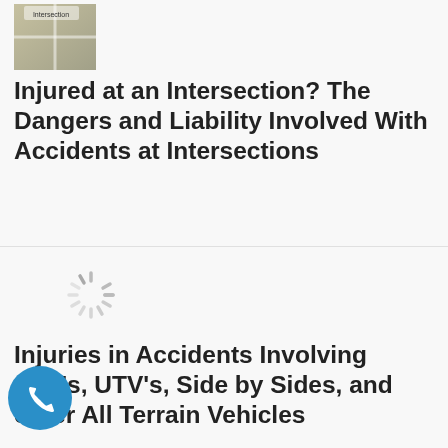[Figure (photo): Aerial photo of an intersection with text overlay reading 'Intersection']
Injured at an Intersection? The Dangers and Liability Involved With Accidents at Intersections
[Figure (other): Loading spinner icon (image not yet loaded)]
Injuries in Accidents Involving ATV's, UTV's, Side by Sides, and other All Terrain Vehicles
[Figure (other): Loading spinner icon (image not yet loaded)]
Is it Possible To Sue Snapchat or Other